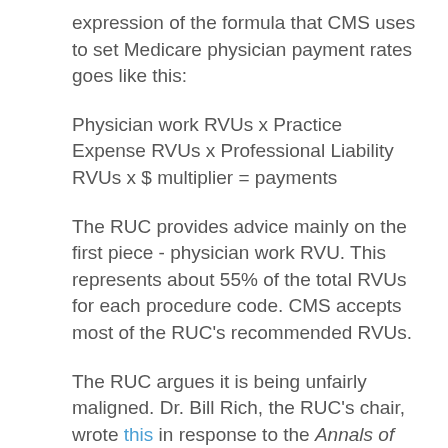expression of the formula that CMS uses to set Medicare physician payment rates goes like this:
Physician work RVUs x Practice Expense RVUs x Professional Liability RVUs x $ multiplier = payments
The RUC provides advice mainly on the first piece - physician work RVU. This represents about 55% of the total RVUs for each procedure code. CMS accepts most of the RUC's recommended RVUs.
The RUC argues it is being unfairly maligned. Dr. Bill Rich, the RUC's chair, wrote this in response to the Annals of Internal Medicine:
"The RUC recommended significant increases to E&M (evaluation and management) services, which were